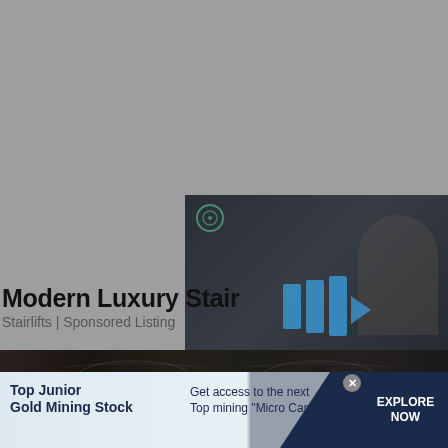[Figure (screenshot): Gray background area occupying top half of page, representing a webpage background or placeholder area]
[Figure (screenshot): Dark video player overlay in bottom-right quadrant showing a person in a room, with blue play/forward icon arrows and a mute button icon, and a circular logo icon in top-left of the player]
Modern Luxury Stair
Stairlifts | Sponsored Listing
[Figure (photo): Close-up photo strip of a man's eyes/face in dark tone]
[Figure (infographic): Banner advertisement for Top Junior Gold Mining Stock with diagonal white shape. Left side: bold text 'Top Junior Gold Mining Stock'. Middle: 'Get access to the next Top mining "Micro Cap" here!'. Right side: dark navy button 'EXPLORE NOW'. Close/X button in top right corner.]